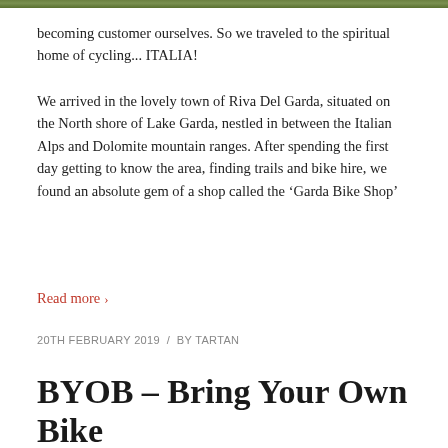[Figure (photo): Top edge of a photo showing outdoor/nature scene with green tones]
becoming customer ourselves. So we traveled to the spiritual home of cycling... ITALIA!
We arrived in the lovely town of Riva Del Garda, situated on the North shore of Lake Garda, nestled in between the Italian Alps and Dolomite mountain ranges. After spending the first day getting to know the area, finding trails and bike hire, we found an absolute gem of a shop called the ‘Garda Bike Shop’
Read more >
20TH FEBRUARY 2019  /  BY TARTAN
BYOB – Bring Your Own Bike